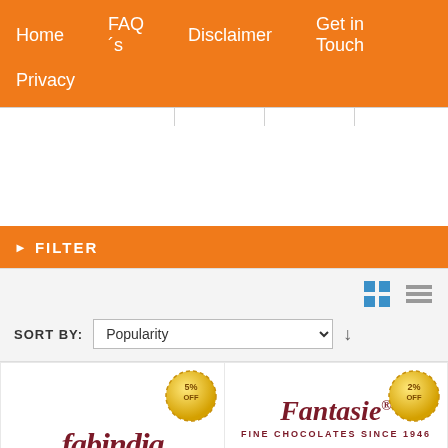Home  FAQ´s  Disclaimer  Get in Touch  Privacy
▶ FILTER
SORT BY: Popularity
[Figure (logo): Fabindia brand logo in dark red italic script with 5% OFF badge]
[Figure (logo): Fantasie Fine Chocolates Since 1946 logo with chocolates image and 2% OFF badge]